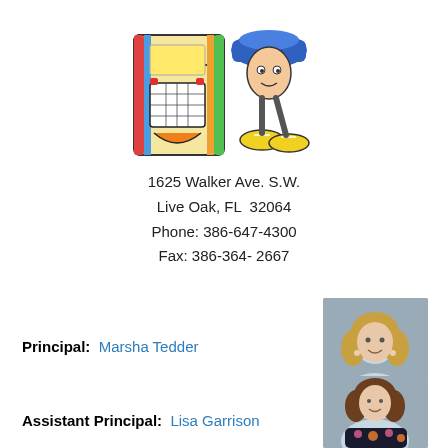[Figure (illustration): Colorful school mascot illustration featuring a jukebox and a character with sneakers]
1625 Walker Ave. S.W.
Live Oak, FL  32064
Phone: 386-647-4300
Fax: 386-364- 2667
Principal:  Marsha Tedder
[Figure (photo): Portrait photo of Principal Marsha Tedder]
Assistant Principal:  Lisa Garrison
[Figure (photo): Portrait photo of Assistant Principal Lisa Garrison]